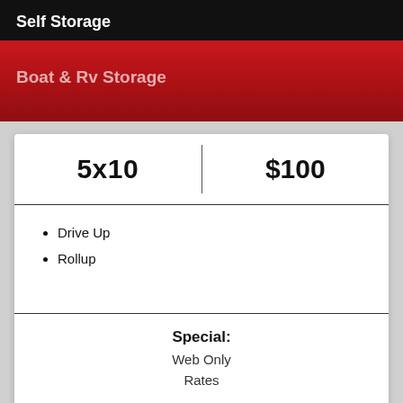Self Storage
Boat & Rv Storage
| 5x10 | $100 |
| --- | --- |
Drive Up
Rollup
Special: Web Only Rates
Reserve Unit